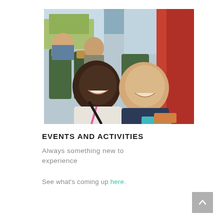[Figure (photo): Photograph of people sitting inside a coach/bus. In the foreground, two men are smiling at the camera — one wearing a light jacket with a pink lanyard, the other in a dark jacket. Behind them are two more people seated in green and brown coach seats. Red curtains are visible on the right side of the bus.]
EVENTS AND ACTIVITIES
Always something new to experience
See what's coming up here.